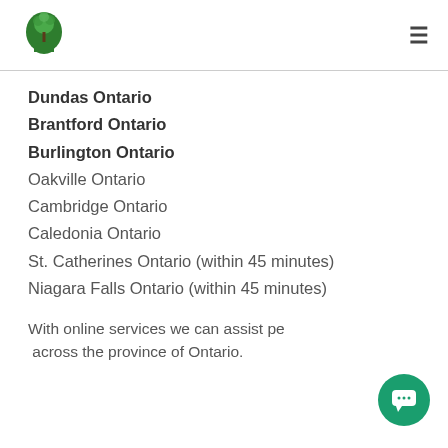[Logo] [Hamburger menu]
Dundas Ontario
Brantford Ontario
Burlington Ontario
Oakville Ontario
Cambridge Ontario
Caledonia Ontario
St. Catherines Ontario (within 45 minutes)
Niagara Falls Ontario (within 45 minutes)
With online services we can assist people across the province of Ontario.